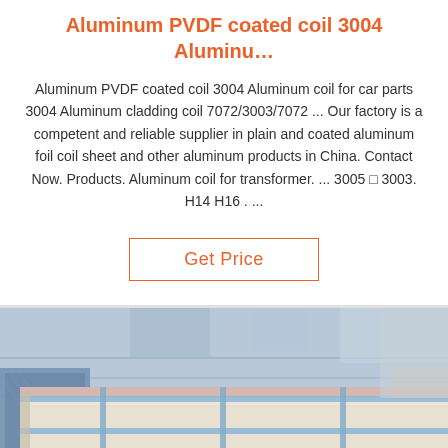Aluminum PVDF coated coil 3004 Aluminu...
Aluminum PVDF coated coil 3004 Aluminum coil for car parts 3004 Aluminum cladding coil 7072/3003/7072 ... Our factory is a competent and reliable supplier in plain and coated aluminum foil coil sheet and other aluminum products in China. Contact Now. Products. Aluminum coil for transformer. ... 3005 □ 3003. H14 H16 . ...
Get Price
[Figure (photo): Photo of packaged aluminum coil/sheet product wrapped in cream/beige protective packaging with blue strapping bands, stored in an industrial warehouse setting. A TOP logo watermark appears in the lower right corner.]